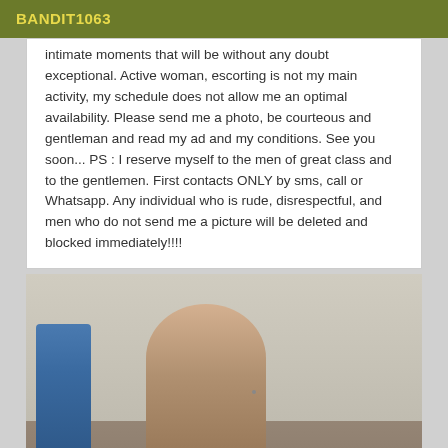BANDIT1063
intimate moments that will be without any doubt exceptional. Active woman, escorting is not my main activity, my schedule does not allow me an optimal availability. Please send me a photo, be courteous and gentleman and read my ad and my conditions. See you soon... PS : I reserve myself to the men of great class and to the gentlemen. First contacts ONLY by sms, call or Whatsapp. Any individual who is rude, disrespectful, and men who do not send me a picture will be deleted and blocked immediately!!!!
[Figure (photo): A photo showing two people, one on the left in blue clothing and one in the center, in an indoor setting with a light-colored wall in the background.]